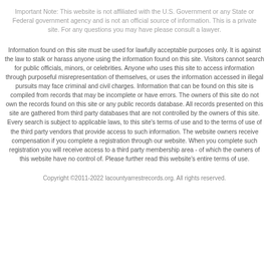Important Note: This website is not affiliated with the U.S. Government or any State or Federal government agency and is not an official source of information. This is a private site. For any questions you may have please consult a lawyer.
Information found on this site must be used for lawfully acceptable purposes only. It is against the law to stalk or harass anyone using the information found on this site. Visitors cannot search for public officials, minors, or celebrities. Anyone who uses this site to access information through purposeful misrepresentation of themselves, or uses the information accessed in illegal pursuits may face criminal and civil charges. Information that can be found on this site is compiled from records that may be incomplete or have errors. The owners of this site do not own the records found on this site or any public records database. All records presented on this site are gathered from third party databases that are not controlled by the owners of this site. Every search is subject to applicable laws, to this site's terms of use and to the terms of use of the third party vendors that provide access to such information. The website owners receive compensation if you complete a registration through our website. When you complete such registration you will receive access to a third party membership area - of which the owners of this website have no control of. Please further read this website's entire terms of use.
Copyright ©2011-2022 lacountyarrestrecords.org. All rights reserved.